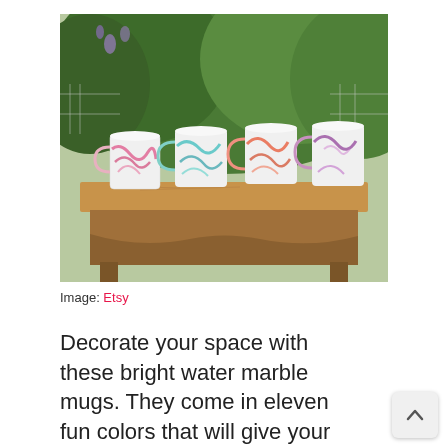[Figure (photo): Four colorful marble-patterned ceramic mugs sitting on a rustic wooden table outdoors, surrounded by green foliage with purple flowers in the background. The mugs are pink, teal/aqua, coral/red, and purple/pink marbled designs.]
Image: Etsy
Decorate your space with these bright water marble mugs. They come in eleven fun colors that will give your kitchen that homey feel. Make